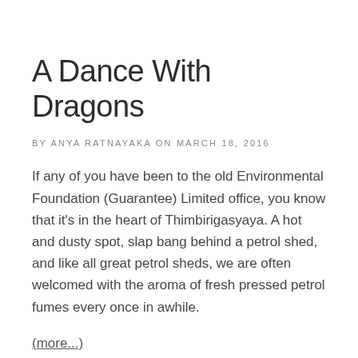A Dance With Dragons
BY ANYA RATNAYAKA ON MARCH 18, 2016
If any of you have been to the old Environmental Foundation (Guarantee) Limited office, you know that it's in the heart of Thimbirigasyaya. A hot and dusty spot, slap bang behind a petrol shed, and like all great petrol sheds, we are often welcomed with the aroma of fresh pressed petrol fumes every once in awhile.
(more...)
1 Comment